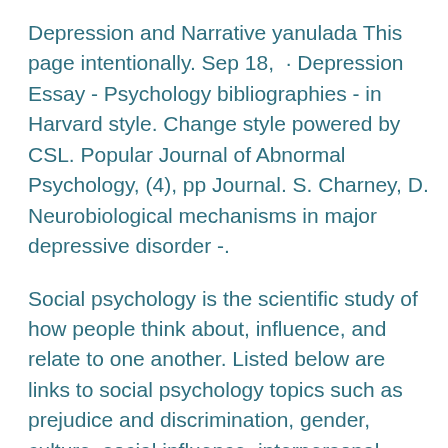Depression and Narrative yanulada This page intentionally. Sep 18,  · Depression Essay - Psychology bibliographies - in Harvard style. Change style powered by CSL. Popular Journal of Abnormal Psychology, (4), pp Journal. S. Charney, D. Neurobiological mechanisms in major depressive disorder -.
Social psychology is the scientific study of how people think about, influence, and relate to one another. Listed below are links to social psychology topics such as prejudice and discrimination, gender, culture, social influence, interpersonal relations, group behavior, aggression, and more.
More Essay Examples on Abnormal psychology Rubric. According to the DSM-IV (), people who suffer from a major mood disorder, whether it is Unipolar Depressive, Bipolar